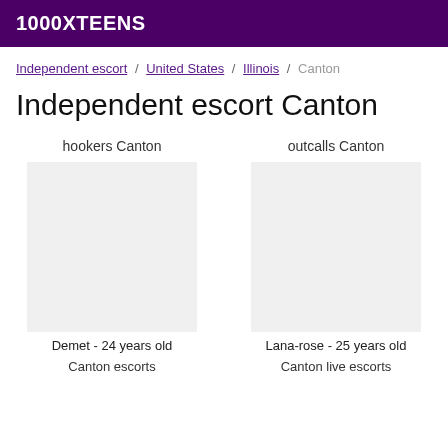1000XTEENS
Independent escort / United States / Illinois / Canton
Independent escort Canton
hookers Canton
outcalls Canton
Demet - 24 years old
Lana-rose - 25 years old
Canton escorts
Canton live escorts